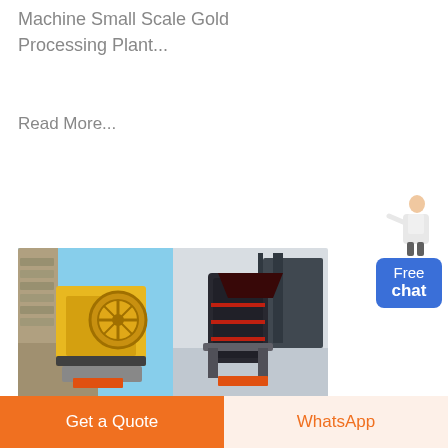Machine Small Scale Gold Processing Plant...
Read More...
[Figure (photo): Two images side by side: left shows a yellow jaw crusher machine outdoors, right shows a dark industrial processing machine indoors]
Gold Mining Equipment for Sale
Goldlands' technicians have designed and manufactured proprietory industrial gold mining
Get a Quote
WhatsApp